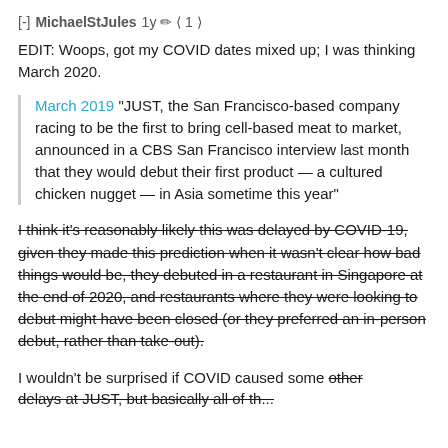[-] MichaelStJules 1y 〈 1 〉
EDIT: Woops, got my COVID dates mixed up; I was thinking March 2020.
March 2019 "JUST, the San Francisco-based company racing to be the first to bring cell-based meat to market, announced in a CBS San Francisco interview last month that they would debut their first product — a cultured chicken nugget — in Asia sometime this year"
I think it's reasonably likely this was delayed by COVID-19, given they made this prediction when it wasn't clear how bad things would be, they debuted in a restaurant in Singapore at the end of 2020, and restaurants where they were looking to debut might have been closed (or they preferred an in-person debut, rather than take-out).
I wouldn't be surprised if COVID caused some other delays at JUST, but basically all of the...